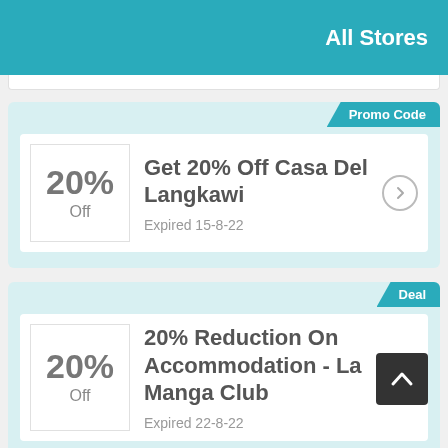All Stores
Promo Code
20% Off
Get 20% Off Casa Del Langkawi
Expired 15-8-22
Deal
20% Off
20% Reduction On Accommodation - La Manga Club
Expired 22-8-22